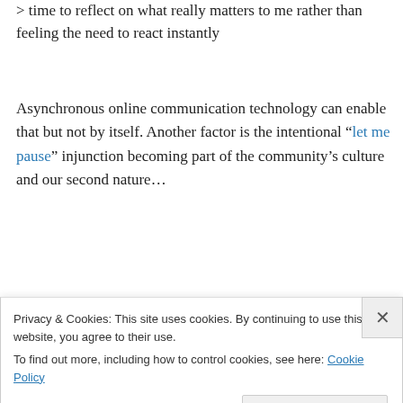> time to reflect on what really matters to me rather than feeling the need to react instantly
Asynchronous online communication technology can enable that but not by itself. Another factor is the intentional “let me pause” injunction becoming part of the community’s culture and our second nature…
★ Liked by 1 person
👍 1 👎 0 ⓘ Rate This
Log in to Reply
Privacy & Cookies: This site uses cookies. By continuing to use this website, you agree to their use.
To find out more, including how to control cookies, see here: Cookie Policy
Close and accept